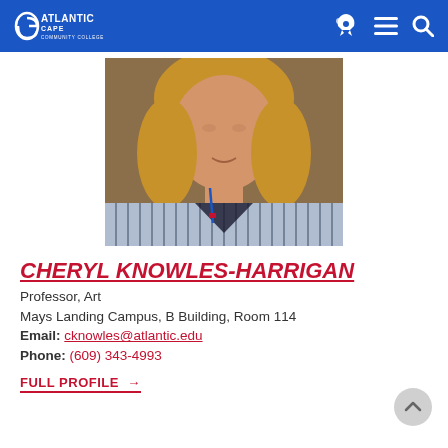Atlantic Cape Community College
[Figure (photo): Headshot photo of Cheryl Knowles-Harrigan, a woman with blonde hair wearing a blue and white striped shirt]
CHERYL KNOWLES-HARRIGAN
Professor, Art
Mays Landing Campus, B Building, Room 114
Email: cknowles@atlantic.edu
Phone: (609) 343-4993
FULL PROFILE →